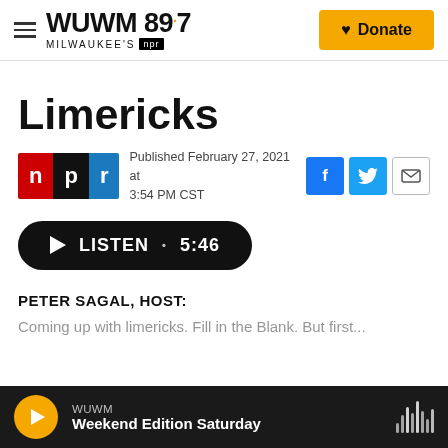WUWM 89.7 Milwaukee's NPR | Donate
Limericks
Published February 27, 2021 at 3:54 PM CST
[Figure (other): NPR logo with colored letter blocks: n (red), p (black), r (blue)]
LISTEN • 5:46
PETER SAGAL, HOST:
WUWM Weekend Edition Saturday